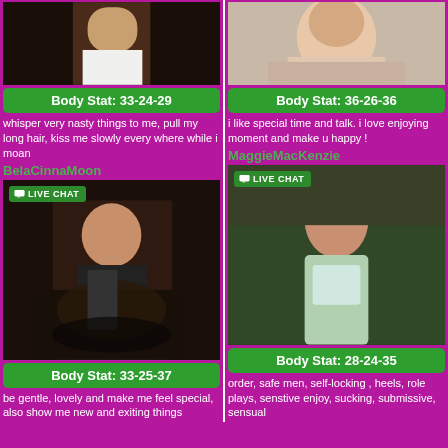[Figure (photo): Woman in white shirt from behind, dark background]
[Figure (photo): Young woman with long hair, close-up portrait]
Body Stat: 33-24-29
Body Stat: 36-26-36
whisper very nasty things to me, pull my long hair, kiss me slowly every where while i moan
i like special time and talk. i love enjoying moment and make u happy !
BelaCinnaMoon
MaggieMacKenzie
[Figure (photo): Woman on a motorcycle, dark setting, LIVE CHAT badge]
[Figure (photo): Woman in bikini outdoors, LIVE CHAT badge]
Body Stat: 33-25-37
Body Stat: 28-24-35
be gentle, lovely and make me feel special, also show me new and exiting things
order, safe men, self-locking , heels, role plays, senstive enjoy, sucking, submissive, sensual